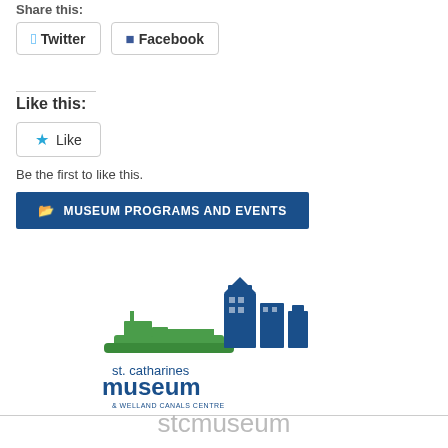Share this:
Twitter  Facebook
Like this:
Like
Be the first to like this.
MUSEUM PROGRAMS AND EVENTS
[Figure (logo): St. Catharines Museum & Welland Canals Centre logo with a green ship and blue buildings]
stcmuseum